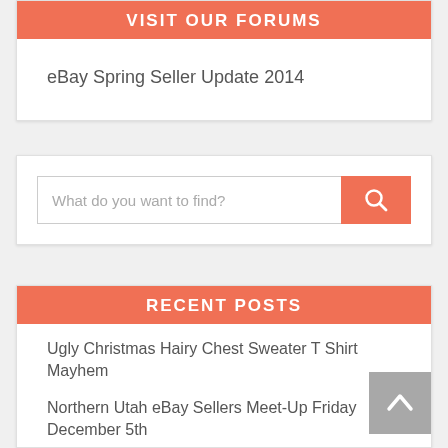VISIT OUR FORUMS
eBay Spring Seller Update 2014
[Figure (other): Search bar with text input 'What do you want to find?' and orange search button with magnifying glass icon]
RECENT POSTS
Ugly Christmas Hairy Chest Sweater T Shirt Mayhem
Northern Utah eBay Sellers Meet-Up Friday December 5th
One drop of water at a time fills the lake